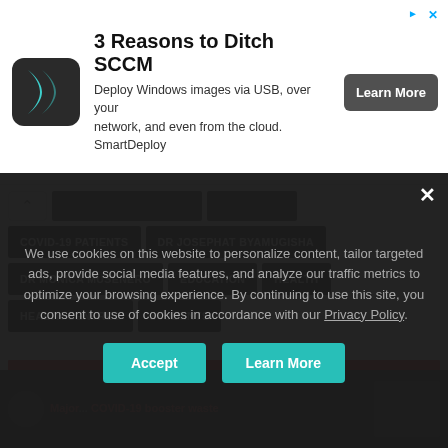[Figure (other): Advertisement banner: icon of a dark arrow/chevron logo, title '3 Reasons to Ditch SCCM', body text 'Deploy Windows images via USB, over your network, and even from the cloud. SmartDeploy', and a dark 'Learn More' button]
COVID-19 PATIENTS
DR JOSEPHAT BYAMUGISHA
DR MONICA MUSENERO
EDUCATION
HEALTH
HEALTH CENTRES
STUDENTS
RELATED ARTICLES
We use cookies on this website to personalize content, tailor targeted ads, provide social media features, and analyze our traffic metrics to optimize your browsing experience. By continuing to use this site, you consent to use of cookies in accordance with our Privacy Policy.
Accept    Learn More
Major... COVID-19 booster waste